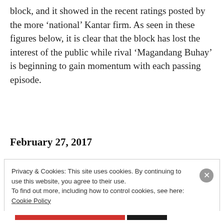block, and it showed in the recent ratings posted by the more ‘national’ Kantar firm. As seen in these figures below, it is clear that the block has lost the interest of the public while rival ‘Magandang Buhay’ is beginning to gain momentum with each passing episode.
February 27, 2017
Privacy & Cookies: This site uses cookies. By continuing to use this website, you agree to their use.
To find out more, including how to control cookies, see here: Cookie Policy
Close and accept